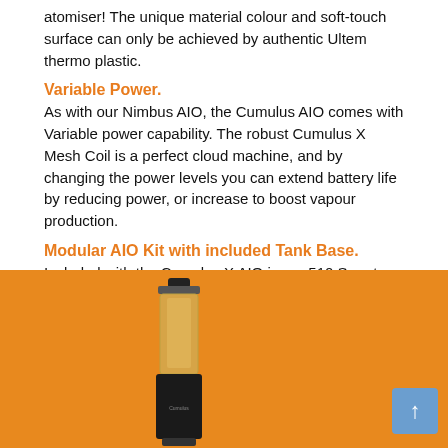atomiser! The unique material colour and soft-touch surface can only be achieved by authentic Ultem thermo plastic.
Variable Power.
As with our Nimbus AIO, the Cumulus AIO comes with Variable power capability. The robust Cumulus X Mesh Coil is a perfect cloud machine, and by changing the power levels you can extend battery life by reducing power, or increase to boost vapour production.
Modular AIO Kit with included Tank Base.
Included with the Cumulus X AIO is our 510 Smart Tank Base - allowing the user to use the Cumulus X as a Smart Tank. Why, because on a Box Mod (like the Vega and Octa), more power with finer control is available.
[Figure (photo): Product photo of a vaping device (Cumulus X AIO) shown against an orange background, displaying a tank with transparent body and a black base/mod section.]